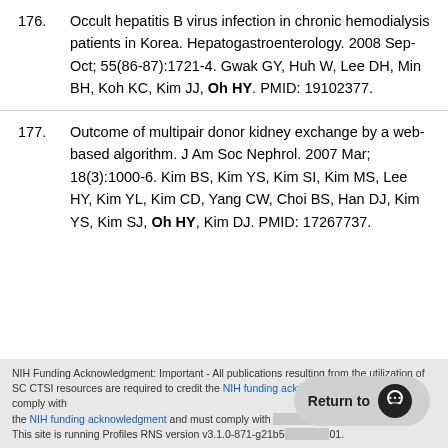176. Occult hepatitis B virus infection in chronic hemodialysis patients in Korea. Hepatogastroenterology. 2008 Sep-Oct; 55(86-87):1721-4. Gwak GY, Huh W, Lee DH, Min BH, Koh KC, Kim JJ, Oh HY. PMID: 19102377.
177. Outcome of multipair donor kidney exchange by a web-based algorithm. J Am Soc Nephrol. 2007 Mar; 18(3):1000-6. Kim BS, Kim YS, Kim SI, Kim MS, Lee HY, Kim YL, Kim CD, Yang CW, Choi BS, Han DJ, Kim YS, Kim SJ, Oh HY, Kim DJ. PMID: 17267737.
NIH Funding Acknowledgment: Important - All publications resulting from the utilization of SC CTSI resources are required to credit the NIH funding acknowledgment and must comply with the NIH funding acknowledgment and must comply with [policy]. This site is running Profiles RNS version v3.1.0-871-g21b5...